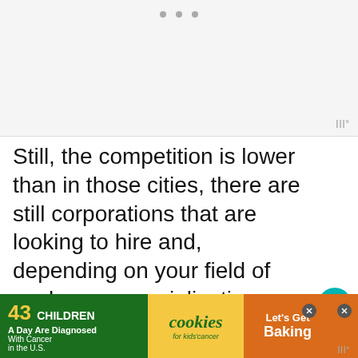[Figure (screenshot): Top image placeholder area with gray background, three dots navigation indicators at top]
Still, the competition is lower than in those cities, there are still corporations that are looking to hire and, depending on your field of work, your specialization might be in high demand. You can't know for sure before you test the waters.
Oradea is also one of the city's most important centers of education, offering ed...
[Figure (screenshot): Advertisement banner: 43 Children A Day Are Diagnosed With Cancer in the U.S. / cookies for kids cancer / Let's Get Baking]